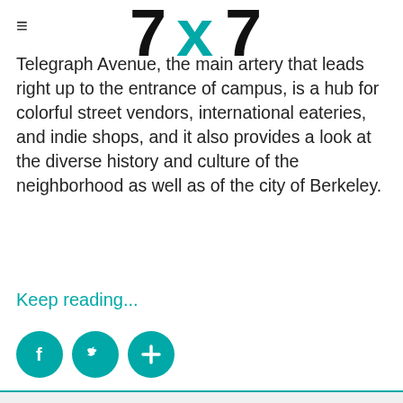7x7
Telegraph Avenue, the main artery that leads right up to the entrance of campus, is a hub for colorful street vendors, international eateries, and indie shops, and it also provides a look at the diverse history and culture of the neighborhood as well as of the city of Berkeley.
Keep reading...
[Figure (other): Social media share icons: Facebook (f), Twitter (bird), Plus (+) in teal circles]
Video House Tour: A tiny but mighty stylish Ken Fulk–designed high-rise home asks $1.7 million